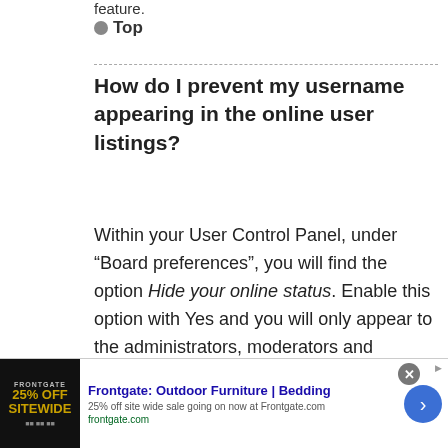feature.
Top
How do I prevent my username appearing in the online user listings?
Within your User Control Panel, under “Board preferences”, you will find the option Hide your online status. Enable this option with Yes and you will only appear to the administrators, moderators and yourself. You will be
[Figure (other): Advertisement banner for Frontgate: Outdoor Furniture | Bedding. Shows 25% OFF SITEWIDE promotion. Text: 25% off site wide sale going on now at Frontgate.com. URL: frontgate.com]